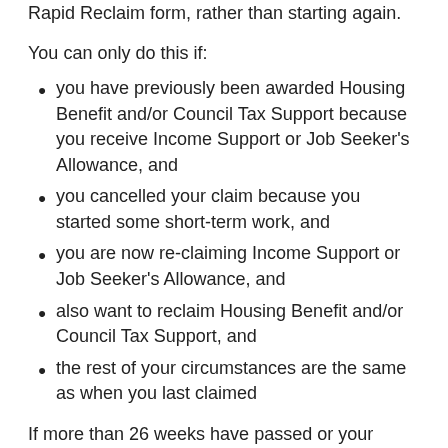you wish to restart, you can save time by completing a Rapid Reclaim form, rather than starting again.
You can only do this if:
you have previously been awarded Housing Benefit and/or Council Tax Support because you receive Income Support or Job Seeker's Allowance, and
you cancelled your claim because you started some short-term work, and
you are now re-claiming Income Support or Job Seeker's Allowance, and
also want to reclaim Housing Benefit and/or Council Tax Support, and
the rest of your circumstances are the same as when you last claimed
If more than 26 weeks have passed or your circumstances have changed, you will need to start a